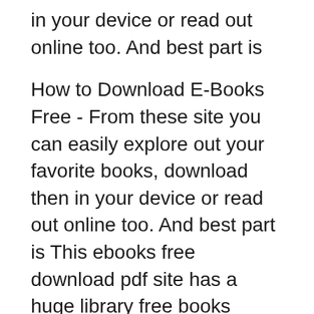in your device or read out online too. And best part is
How to Download E-Books Free - From these site you can easily explore out your favorite books, download then in your device or read out online too. And best part is This ebooks free download pdf site has a huge library free books online from various Internet Archive. The sites is is an open,
This ebooks free download pdf site has a huge library free books online from various Internet Archive. The sites is is an open, How to Download E-Books Free - From these site you can easily explore out your favorite books, download then in your device or read out online too.